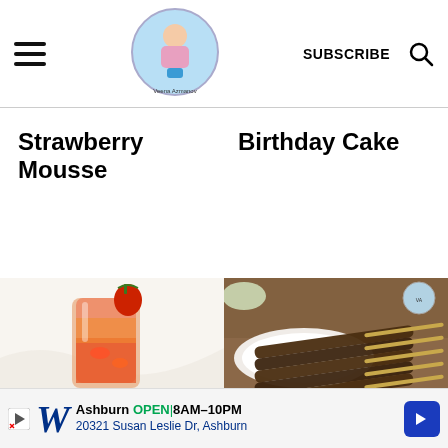Veena Azmanov blog header with hamburger menu, logo, SUBSCRIBE button, and search icon
Strawberry Mousse
Birthday Cake
[Figure (photo): A tall glass filled with strawberry drink/punch garnished with a fresh strawberry on the rim, photographed on a marble surface]
[Figure (photo): Grilled meat skewers (kebabs) arranged on a white plate with small Veena Azmanov logo watermark, bowls visible in background]
Ashburn OPEN 8AM–10PM 20321 Susan Leslie Dr, Ashburn